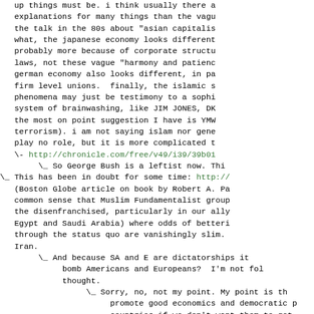up things must be. i think usually there are better explanations for many things than the vague... the talk in the 80s about "asian capitalism" and what, the japanese economy looks different... probably more because of corporate structure and laws, not these vague "harmony and patience"... german economy also looks different, in part from firm level unions.  finally, the islamic s... phenomena may just be testimony to a sophisticated system of brainwashing, like JIM JONES, DK... the most on point suggestion I have is YMW... terrorism). i am not saying islam nor general... play no role, but it is more complicated t...
\- http://chronicle.com/free/v49/i39/39b01...
     \_ So George Bush is a leftist now. Thi...
\_ This has been in doubt for some time: http://...
(Boston Globe article on book by Robert A. Pa...
common sense that Muslim Fundamentalist group...
the disenfranchised, particularly in our ally...
Egypt and Saudi Arabia) where odds of betteri...
through the status quo are vanishingly slim. ...
Iran.
     \_ And because SA and E are dictatorships it...
          bomb Americans and Europeans?  I'm not fol...
          thought.
               \_ Sorry, no, not my point. My point is th...
                    promote good economics and democratic p...
                    countries if we don't want them to get ...
                    fanatics.
\_ Anyone who seriously makes this claim (about...
 hasn't spent much time studying or thinking ...